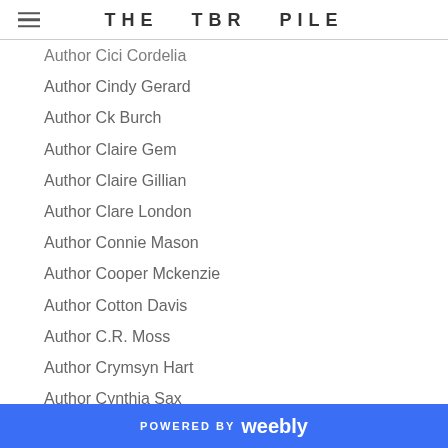THE TBR PILE
Author Cici Cordelia
Author Cindy Gerard
Author Ck Burch
Author Claire Gem
Author Claire Gillian
Author Clare London
Author Connie Mason
Author Cooper Mckenzie
Author Cotton Davis
Author C.R. Moss
Author Crymsyn Hart
Author Cynthia Sax
Author Dahlia Dewinters
Author Dakota Cassidy
Author Dale Cameron Lowery
Author Damon Suede
Author Dana Wright
Author Dania Voss
POWERED BY weebly